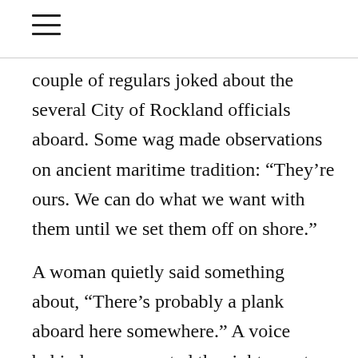≡
couple of regulars joked about the several City of Rockland officials aboard. Some wag made observations on ancient maritime tradition: “They’re ours. We can do what we want with them until we set them off on shore.”
A woman quietly said something about, “There’s probably a plank aboard here somewhere.” A voice behind me suggested the right way to entice their arrival…